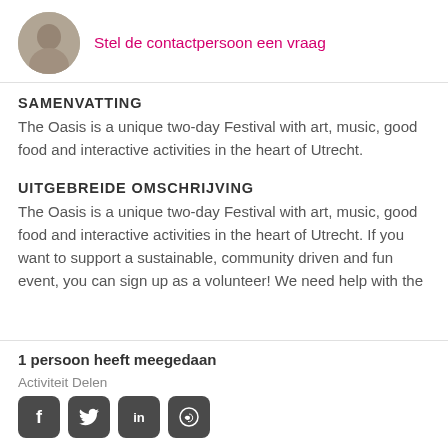[Figure (photo): Circular avatar photo of a person in a crowd/festival setting]
Stel de contactpersoon een vraag
SAMENVATTING
The Oasis is a unique two-day Festival with art, music, good food and interactive activities in the heart of Utrecht.
UITGEBREIDE OMSCHRIJVING
The Oasis is a unique two-day Festival with art, music, good food and interactive activities in the heart of Utrecht. If you want to support a sustainable, community driven and fun event, you can sign up as a volunteer! We need help with the
1 persoon heeft meegedaan
Activiteit Delen
[Figure (logo): Social media share icons: Facebook, Twitter, LinkedIn, WhatsApp]